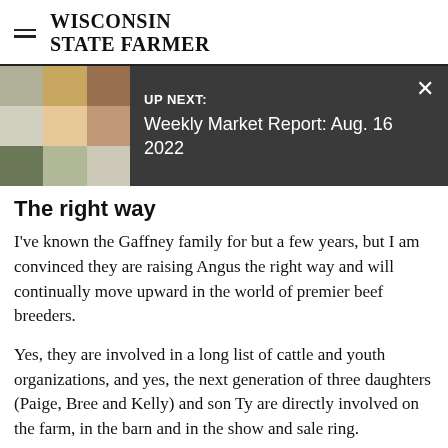WISCONSIN STATE FARMER
[Figure (screenshot): UP NEXT banner overlay with photo collage on left showing farm animals, and text 'UP NEXT: Weekly Market Report: Aug. 16 2022' on dark background with X close button]
The right way
I've known the Gaffney family for but a few years, but I am convinced they are raising Angus the right way and will continually move upward in the world of premier beef breeders.
Yes, they are involved in a long list of cattle and youth organizations, and yes, the next generation of three daughters (Paige, Bree and Kelly) and son Ty are directly involved on the farm, in the barn and in the show and sale ring.
No, you need not travel to Montana, Wyoming,